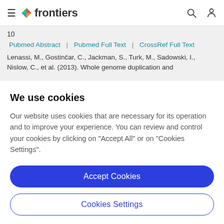frontiers
10
Pubmed Abstract | Pubmed Full Text | CrossRef Full Text
Lenassi, M., Gostinčar, C., Jackman, S., Turk, M., Sadowski, I., Nislow, C., et al. (2013). Whole genome duplication and
We use cookies
Our website uses cookies that are necessary for its operation and to improve your experience. You can review and control your cookies by clicking on "Accept All" or on "Cookies Settings".
Accept Cookies
Cookies Settings